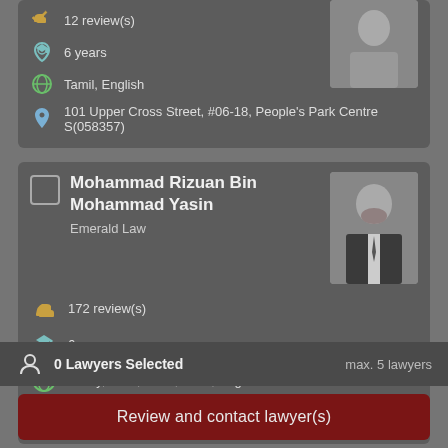12 review(s)
6 years
Tamil, English
101 Upper Cross Street, #06-18, People's Park Centre S(058357)
[Figure (photo): Portrait photo of female lawyer in dark jacket]
Mohammad Rizuan Bin Mohammad Yasin
Emerald Law
172 review(s)
6 years
Malay, Urdu, Tamil, Hindi, English
3 Shenton Way, Shenton House #11-10, 068805
[Figure (photo): Portrait photo of male lawyer with beard in dark suit]
0 Lawyers Selected
max. 5 lawyers
Review and contact lawyer(s)